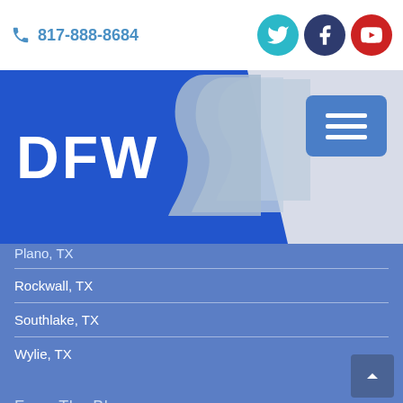817-888-8684
[Figure (logo): DFW logo with blue block and profile silhouettes, plus hamburger menu button]
Plano, TX
Rockwall, TX
Southlake, TX
Wylie, TX
From The Blog
A Simple Overview of a Septoplasty Procedure